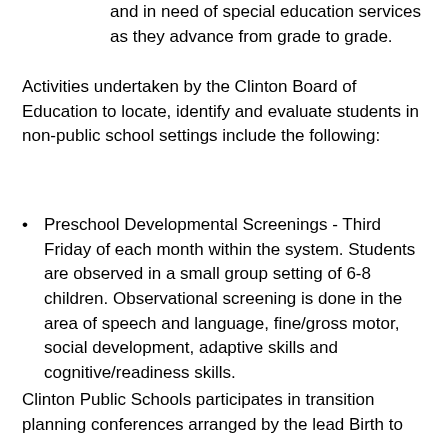and in need of special education services as they advance from grade to grade.
Activities undertaken by the Clinton Board of Education to locate, identify and evaluate students in non-public school settings include the following:
Preschool Developmental Screenings - Third Friday of each month within the system. Students are observed in a small group setting of 6-8 children. Observational screening is done in the area of speech and language, fine/gross motor, social development, adaptive skills and cognitive/readiness skills.
Notice of Child Find goes out to churches, day care centers, library, town hall, community agencies, pediatricians, preschool programs, private schools, regional education service centers and other appropriate individuals and agencies.
Child Find Preschool Screening dates are posted in all schools and in the Superinten-dent's office.
Clinton Public Schools participates in transition planning conferences arranged by the lead Birth to Three agency when a child with disabilities is